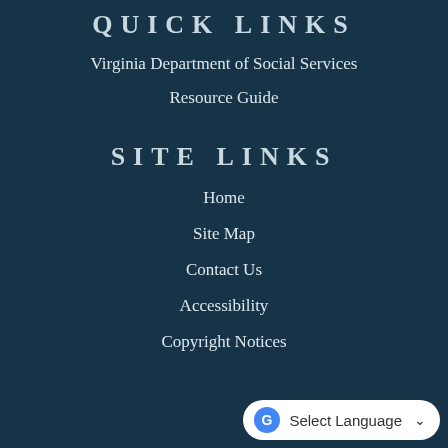QUICK LINKS
Virginia Department of Social Services
Resource Guide
SITE LINKS
Home
Site Map
Contact Us
Accessibility
Copyright Notices
Select Language